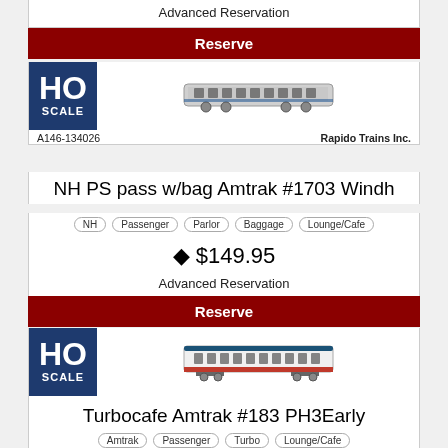Advanced Reservation
Reserve
[Figure (photo): HO Scale badge and train car image for NH PS pass w/bag Amtrak #1703 Windh]
A146-134026
Rapido Trains Inc.
NH PS pass w/bag Amtrak #1703 Windh
NH
Passenger
Parlor
Baggage
Lounge/Cafe
$149.95
Advanced Reservation
Reserve
[Figure (photo): HO Scale badge and train car image for Turbocafe Amtrak #183 PH3Early]
A146-25103
Rapido Trains Inc.
Turbocafe Amtrak #183 PH3Early
Amtrak
Passenger
Turbo
Lounge/Cafe